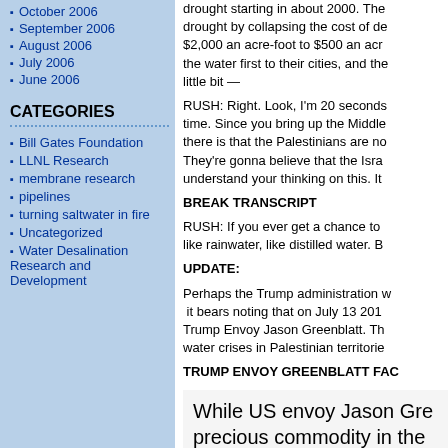October 2006
September 2006
August 2006
July 2006
June 2006
CATEGORIES
Bill Gates Foundation
LLNL Research
membrane research
pipelines
turning saltwater in fire
Uncategorized
Water Desalination Research and Development
drought starting in about 2000. The drought by collapsing the cost of de $2,000 an acre-foot to $500 an acr the water first to their cities, and the little bit —
RUSH: Right. Look, I'm 20 seconds time. Since you bring up the Middle there is that the Palestinians are no They're gonna believe that the Isra understand your thinking on this. It
BREAK TRANSCRIPT
RUSH: If you ever get a chance to like rainwater, like distilled water. B
UPDATE:
Perhaps the Trump administration w it bears noting that on July 13 201 Trump Envoy Jason Greenblatt. Th water crises in Palestinian territorie
TRUMP ENVOY GREENBLATT FAC
While US envoy Jason Gre precious commodity in the diplomatic process.
http://www.jpost.com/Israel-News/P